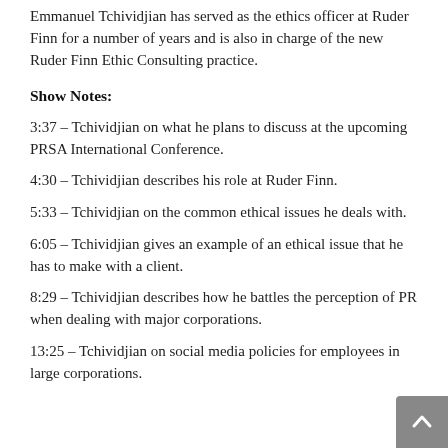Emmanuel Tchividjian has served as the ethics officer at Ruder Finn for a number of years and is also in charge of the new Ruder Finn Ethic Consulting practice.
Show Notes:
3:37 – Tchividjian on what he plans to discuss at the upcoming PRSA International Conference.
4:30 – Tchividjian describes his role at Ruder Finn.
5:33 – Tchividjian on the common ethical issues he deals with.
6:05 – Tchividjian gives an example of an ethical issue that he has to make with a client.
8:29 – Tchividjian describes how he battles the perception of PR when dealing with major corporations.
13:25 – Tchividjian on social media policies for employees in large corporations.